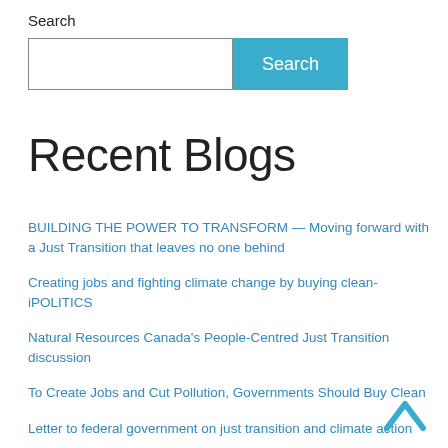Search
[Figure (screenshot): Search input field with a blue Search button]
Recent Blogs
BUILDING THE POWER TO TRANSFORM — Moving forward with a Just Transition that leaves no one behind
Creating jobs and fighting climate change by buying clean- iPOLITICS
Natural Resources Canada's People-Centred Just Transition discussion
To Create Jobs and Cut Pollution, Governments Should Buy Clean
Letter to federal government on just transition and climate action